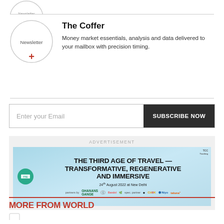[Figure (illustration): Partial newsletter circular icon at top, cropped, showing red plus sign at bottom]
[Figure (illustration): Newsletter circular icon with red plus sign, representing The Coffer newsletter]
The Coffer
Money market essentials, analysis and data delivered to your mailbox with precision timing.
Enter your Email
SUBSCRIBE NOW
[Figure (infographic): Advertisement banner: THE THIRD AGE OF TRAVEL — TRANSFORMATIVE, REGENERATIVE AND IMMERSIVE. 24th August 2022 at New Delhi. Multiple sponsor logos shown at bottom including Ghanans Gange, Bandol, Niyo, taluna and others.]
ADVERTISEMENT
MORE FROM WORLD